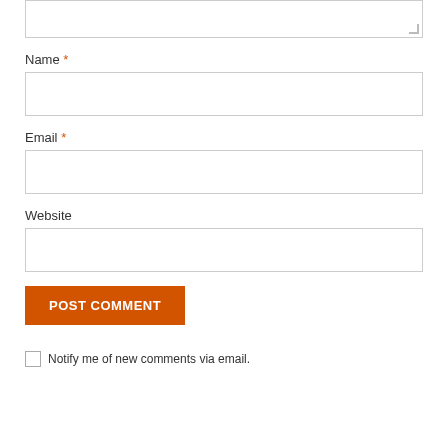[Figure (other): Textarea input box (top, partially cropped) with resize handle at bottom-right]
Name *
[Figure (other): Name text input field, empty]
Email *
[Figure (other): Email text input field, empty]
Website
[Figure (other): Website text input field, empty]
[Figure (other): Orange 'POST COMMENT' button]
Notify me of new comments via email.